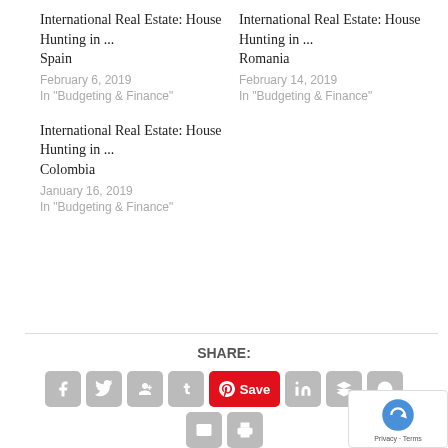International Real Estate: House Hunting in ... Spain
February 6, 2019
In "Budgeting & Finance"
International Real Estate: House Hunting in ... Romania
February 14, 2019
In "Budgeting & Finance"
International Real Estate: House Hunting in ... Colombia
January 16, 2019
In "Budgeting & Finance"
SHARE: